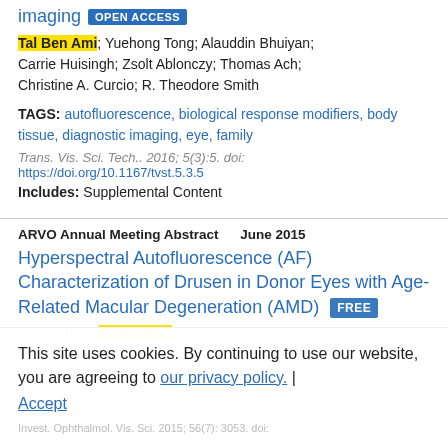Imaging OPEN ACCESS
Tal Ben Ami; Yuehong Tong; Alauddin Bhuiyan; Carrie Huisingh; Zsolt Ablonczy; Thomas Ach; Christine A. Curcio; R. Theodore Smith
TAGS: autofluorescence, biological response modifiers, body tissue, diagnostic imaging, eye, family
Trans. Vis. Sci. Tech.. 2016; 5(3):5. doi: https://doi.org/10.1167/tvst.5.3.5
Includes: Supplemental Content
ARVO Annual Meeting Abstract   June 2015
Hyperspectral Autofluorescence (AF) Characterization of Drusen in Donor Eyes with Age-Related Macular Degeneration (AMD) FREE
This site uses cookies. By continuing to use our website, you are agreeing to our privacy policy. | Accept